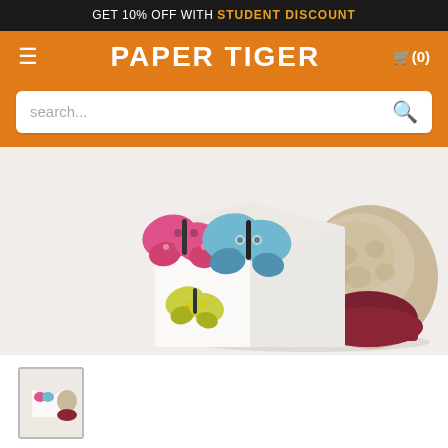GET 10% OFF WITH STUDENT DISCOUNT
[Figure (screenshot): Paper Tiger website navigation bar with orange background, hamburger menu icon, PAPER TIGER logo in white, and cart icon showing (0)]
[Figure (screenshot): Search bar with white rounded rectangle on orange background, showing 'search...' placeholder text and magnifying glass icon]
[Figure (photo): Close-up product photo of Butterflybom Seedbom showing a square container with butterfly illustrations (pink, blue, yellow butterflies) and a papier-mache seed bomb behind it on a white background]
[Figure (photo): Small thumbnail image of the Butterflybom Seedbom product]
Butterflybom Seedbom
£4.00